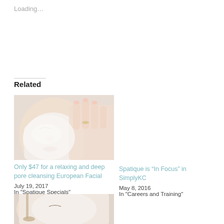Loading…
Related
[Figure (photo): Close-up of a woman's face with a white facial mask being applied by a hand with manicured nails]
Only $47 for a relaxing and deep pore cleansing European Facial
July 19, 2017
In "Spatique Specials"
Spatique is “In Focus” in SimplyKC
May 8, 2016
In "Careers and Training"
[Figure (photo): Partial view of a facial treatment photo at the bottom of the page]